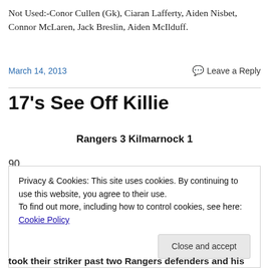Thompson, Zane Donnelly
Not Used:-Conor Cullen (Gk), Ciaran Lafferty, Aiden Nisbet, Connor McLaren, Jack Breslin, Aiden McIlduff.
March 14, 2013
Leave a Reply
17's See Off Killie
Rangers 3 Kilmarnock 1
90
Privacy & Cookies: This site uses cookies. By continuing to use this website, you agree to their use.
To find out more, including how to control cookies, see here: Cookie Policy
Close and accept
took their striker past two Rangers defenders and his